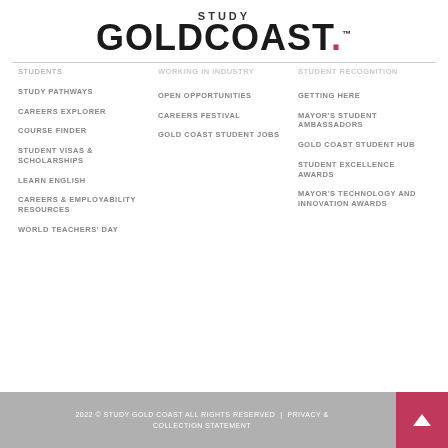[Figure (logo): Study Gold Coast logo with STUDY in small caps above GOLDCOAST. in large bold font with a red dot and trademark symbol]
STUDENTS
STUDY PATHWAYS
CAREERS EXPLORER
COURSE FINDER
STUDENT VISAS & SCHOLARSHIPS
LEARN ENGLISH
CAREERS & EMPLOYABILITY RESOURCES
WORLD TEACHERS' DAY
OPEN OPPORTUNITIES
CAREERS FESTIVAL
GOLD COAST STUDENT JOBS
GETTING HERE
MAYOR'S STUDENT AMBASSADORS
GOLD COAST STUDENT HUB
STUDENT EXCELLENCE AWARDS
MAYOR'S TECHNOLOGY AND INNOVATION AWARDS
2022 © STUDY GOLD COAST ALL RIGHTS RESERVED | PRIVACY & COLLECTION STATEMENT